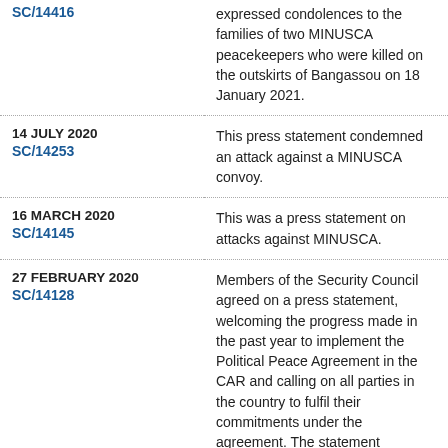| Date / Code | Description |
| --- | --- |
| SC/14416 | expressed condolences to the families of two MINUSCA peacekeepers who were killed on the outskirts of Bangassou on 18 January 2021. |
| 14 JULY 2020
SC/14253 | This press statement condemned an attack against a MINUSCA convoy. |
| 16 MARCH 2020
SC/14145 | This was a press statement on attacks against MINUSCA. |
| 27 FEBRUARY 2020
SC/14128 | Members of the Security Council agreed on a press statement, welcoming the progress made in the past year to implement the Political Peace Agreement in the CAR and calling on all parties in the country to fulfil their commitments under the agreement. The statement condemned violations of the peace agreement perpetrated by armed groups and expressed concern at a recent campaign of disinformation and incitement to violence against MINUSCA. Council members further called on the CAR authorities to ensure |